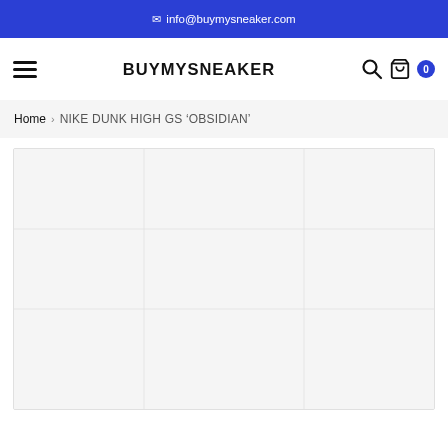✉ info@buymysneaker.com
BUYMYSNEAKER
Home > NIKE DUNK HIGH GS ‘OBSIDIAN’
[Figure (photo): Product image placeholder area for NIKE DUNK HIGH GS OBSIDIAN sneaker, showing a light gray empty product image box]